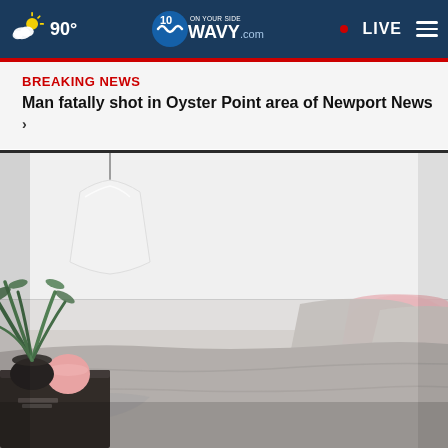90° | WAVY.com | ON YOUR SIDE 10 | LIVE
BREAKING NEWS
Man fatally shot in Oyster Point area of Newport News ›
[Figure (photo): A softly lit bedroom with a white pendant lamp on the left, a plant in a dark pot on a nightstand with a pink round object, a bed with grey linen and pink/grey pillows against a white wall.]